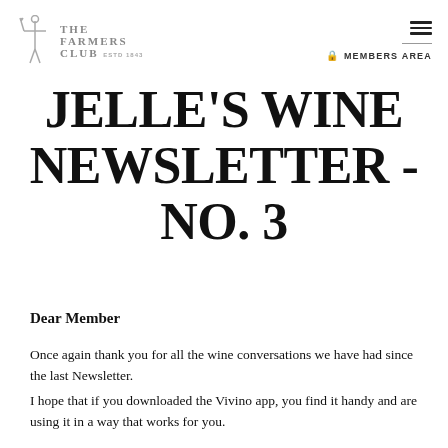THE FARMERS CLUB ESTD 1843 | MEMBERS AREA
JELLE'S WINE NEWSLETTER - NO. 3
Dear Member
Once again thank you for all the wine conversations we have had since the last Newsletter. I hope that if you downloaded the Vivino app, you find it handy and are using it in a way that works for you.